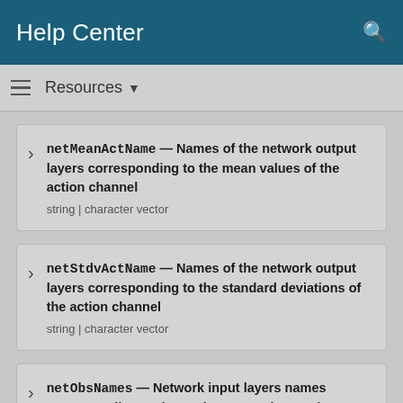Help Center
Resources
netMeanActName — Names of the network output layers corresponding to the mean values of the action channel
string | character vector
netStdvActName — Names of the network output layers corresponding to the standard deviations of the action channel
string | character vector
netObsNames — Network input layers names corresponding to the environment observation channels
string array | cell array of character vectors